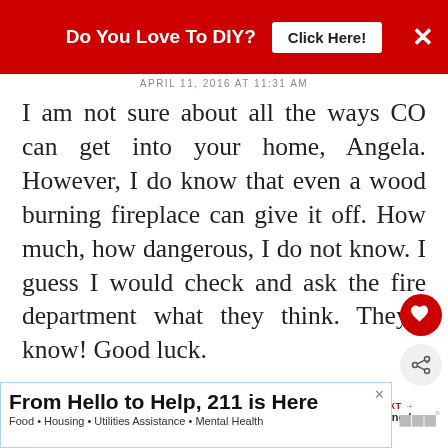[Figure (screenshot): Red advertisement banner at top: 'Do You Love To DIY? [Click Here!] X']
APRIL 11, 2016 AT 11:31 AM
I am not sure about all the ways CO can get into your home, Angela. However, I do know that even a wood burning fireplace can give it off. How much, how dangerous, I do not know. I guess I would check and ask the fire department what they think. They'd know! Good luck.
DELETE
[Figure (screenshot): Bottom advertisement: 'From Hello to Help, 211 is Here' with subtitle 'Food • Housing • Utilities Assistance • Mental Health']